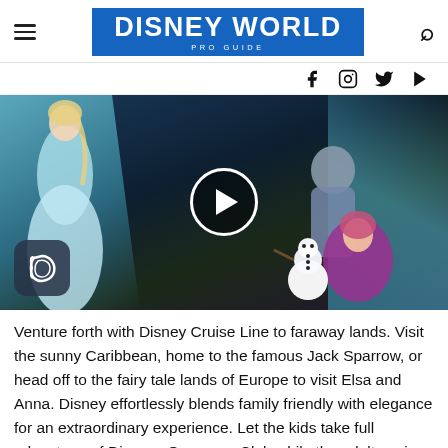DISNEY WORLD PRO GUIDE
[Figure (screenshot): Disney Cruise Line stage show video thumbnail showing Elsa, Anna, Olaf, and other characters from Frozen on stage with ice crystal backdrop and a play button overlay. Disney D logo in bottom left corner.]
Venture forth with Disney Cruise Line to faraway lands. Visit the sunny Caribbean, home to the famous Jack Sparrow, or head off to the fairy tale lands of Europe to visit Elsa and Anna. Disney effortlessly blends family friendly with elegance for an extraordinary experience. Let the kids take full advantage of Disneys Oceaneer Club while the adults enjoy the tranquility. To top, as if you can get all the